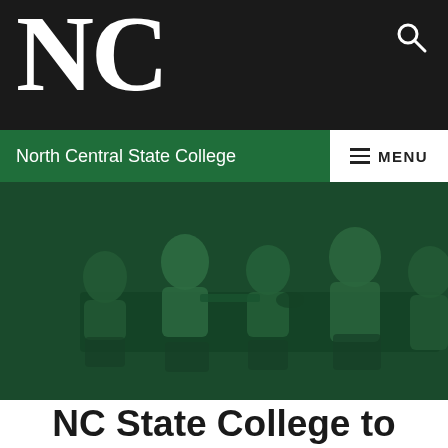North Central State College
[Figure (photo): Green-tinted photo of people sitting around a conference table in a meeting room, viewed from the side.]
NC State College to offer Bachelors of